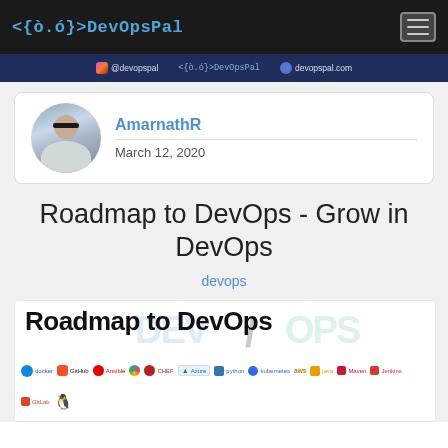<{ò.ó}>DevOpsPal
[Figure (infographic): Social media banner with dark blue background showing Instagram @devopspal, <{ò.ó}>DevOpsPal brand, and devopspal.com website link]
[Figure (photo): Author profile photo of AmarnathR in circular avatar]
AmarnathR   March 12, 2020
Roadmap to DevOps - Grow in DevOps
devops
[Figure (infographic): Roadmap to DevOps banner image showing various DevOps tool logos including Docker, GitHub, Ansible, Google Cloud, Chef, Azure, Python, Kubernetes, AWS, Java, Maven, Jenkins, GitLab, Linux with text Roadmap to DevOps in large bold font]